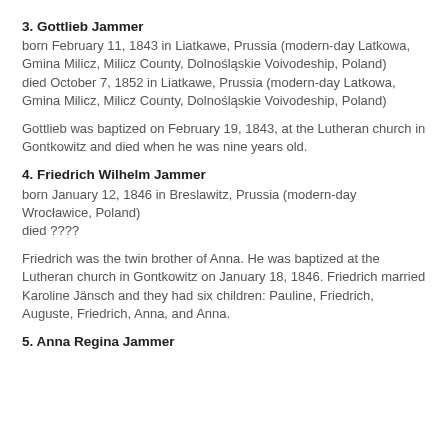3. Gottlieb Jammer
born February 11, 1843 in Liatkawe, Prussia (modern-day Latkowa, Gmina Milicz, Milicz County, Dolnośląskie Voivodeship, Poland)
died October 7, 1852 in Liatkawe, Prussia (modern-day Latkowa, Gmina Milicz, Milicz County, Dolnośląskie Voivodeship, Poland)
Gottlieb was baptized on February 19, 1843, at the Lutheran church in Gontkowitz and died when he was nine years old.
4. Friedrich Wilhelm Jammer
born January 12, 1846 in Breslawitz, Prussia (modern-day Wrocławice, Poland)
died ????
Friedrich was the twin brother of Anna. He was baptized at the Lutheran church in Gontkowitz on January 18, 1846. Friedrich married Karoline Jänsch and they had six children: Pauline, Friedrich, Auguste, Friedrich, Anna, and Anna.
5. Anna Regina Jammer